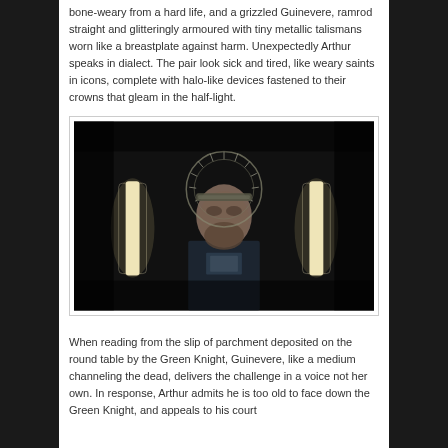bone-weary from a hard life, and a grizzled Guinevere, ramrod straight and glitteringly armoured with tiny metallic talismans worn like a breastplate against harm. Unexpectedly Arthur speaks in dialect. The pair look sick and tired, like weary saints in icons, complete with halo-like devices fastened to their crowns that gleam in the half-light.
[Figure (photo): Dark cinematic still of a bearded man wearing a halo-like crown device, seated between two vertical glowing lights, in a dimly lit scene.]
When reading from the slip of parchment deposited on the round table by the Green Knight, Guinevere, like a medium channeling the dead, delivers the challenge in a voice not her own. In response, Arthur admits he is too old to face down the Green Knight, and appeals to his court